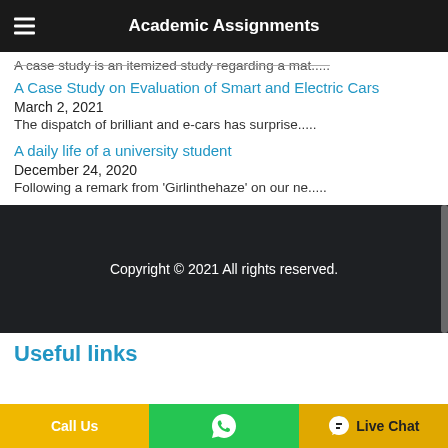Academic Assignments
A case study is an itemized study regarding a mat.....
A Case Study on Evaluation of Smart and Electric Cars
March 2, 2021
The dispatch of brilliant and e-cars has surprise.....
A daily life of a university student
December 24, 2020
Following a remark from 'Girlinthehaze' on our ne.....
Copyright © 2021 All rights reserved.
Useful links
Call Us
Live Chat